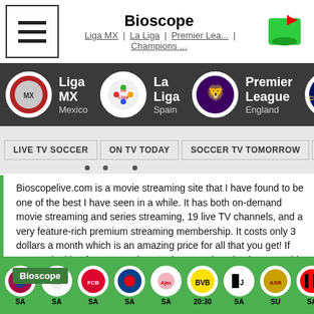Bioscope — Liga MX | La Liga | Premier Lea... | Champions ...
[Figure (screenshot): League navigation bar with Liga MX (Mexico), La Liga (Spain), Premier League (England), Champions League (Eu) icons]
[Figure (screenshot): Navigation buttons: LIVE TV SOCCER | ON TV TODAY | SOCCER TV TOMORROW | SOCCER STREAMS | menu]
Bioscopelive.com is a movie streaming site that I have found to be one of the best I have seen in a while. It has both on-demand movie streaming and series streaming, 19 live TV channels, and a very feature-rich premium streaming membership. It costs only 3 dollars a month which is an amazing price for all that you get! If you are looking for an amazing movie streaming site then I would definitely recommend checking out bioscopelive.com!
[Figure (screenshot): Advertisement: Ashburn OPEN | 9AM-9PM — 20020 Ashbrook Commons Plz ...]
[Figure (screenshot): Bottom team bar showing soccer team logos with labels: SA, SA, SA, SA, SA, 20:30, SA, SU, SA]